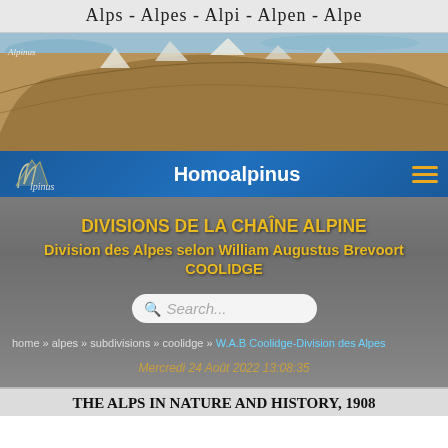Alps - Alpes - Alpi - Alpen - Alpe
[Figure (photo): Satellite/topographic relief map of the Alps mountain range, showing the arc-shaped mountain chain from a bird's eye view with brown terrain and blue water bodies]
Homoalpinus
DIVISIONS DE LA CHAÎNE ALPINE
Division des Alpes selon William Augustus Brevoort COOLIDGE
Search...
home » alpes » subdivisions » coolidge » W.A.B Coolidge-Division des Alpes
Mercredi 24 Août 2022 13:08:35
THE ALPS IN NATURE AND HISTORY, 1908